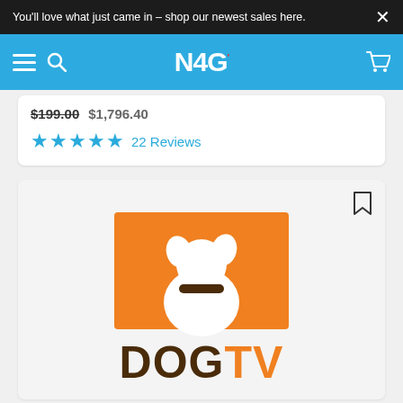You'll love what just came in – shop our newest sales here.
[Figure (logo): N4G website logo in white text on blue navigation bar, with hamburger menu and search icon on left, shopping cart icon on right]
$199.00  $1,796.40
★★★★★  22 Reviews
[Figure (logo): DOGTV logo: orange rectangle with white dog silhouette (back view with collar) above the text DOGTV where DOG is dark brown and TV is orange]